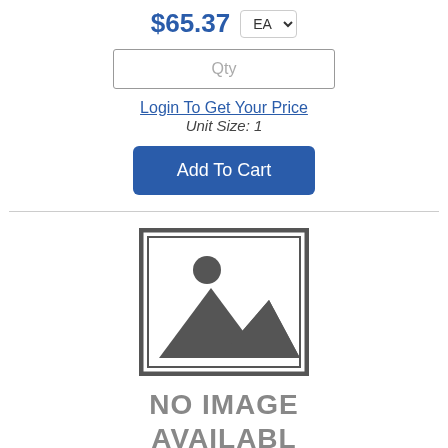$65.37  EA
Qty
Login To Get Your Price
Unit Size: 1
Add To Cart
[Figure (illustration): No image available placeholder icon with mountain and sun silhouette inside a rectangle border]
NO IMAGE AVAILABLE